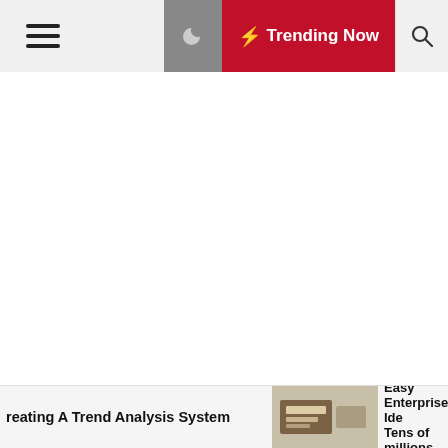☰  🌙  ⚡ Trending Now  🔍
In order to avoid wasting materials, manufacturing companies need to have efficient processes in place. Materials should be accurately accounted for at every stage of production, and any waste should be
reating A Trend Analysis System   Easy Enterprise Ide Tens of millions